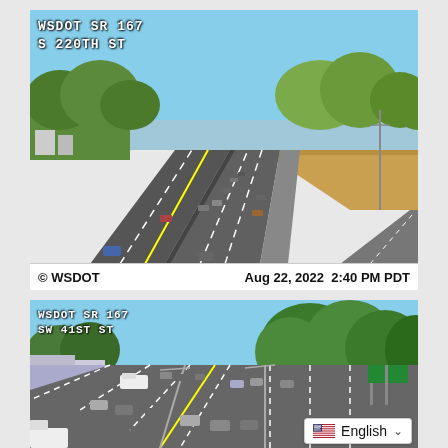[Figure (photo): WSDOT traffic camera image of SR 167 at S 220TH ST showing highway with multiple lanes, sparse traffic, trees on both sides, clear sky. Copyright WSDOT, Aug 22, 2022 2:40 PM PDT]
[Figure (photo): WSDOT traffic camera image of SR 167 at SW 41ST ST showing multi-lane highway with moderate traffic, green trees on right, buildings on left, clear sky. Language selector showing English.]